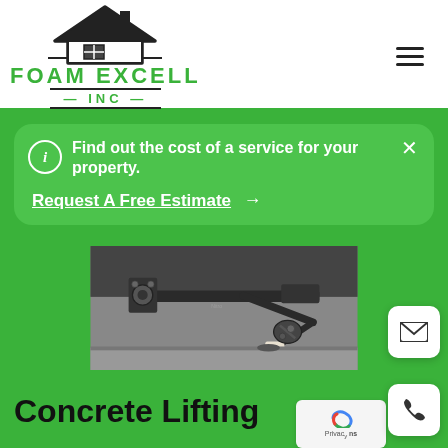[Figure (logo): Foam Excell Inc logo with house/roof icon in black and green text]
Find out the cost of a service for your property.
Request A Free Estimate →
[Figure (photo): Close-up photo of concrete lifting equipment - mechanical tool being inserted into concrete slab]
Concrete Lifting